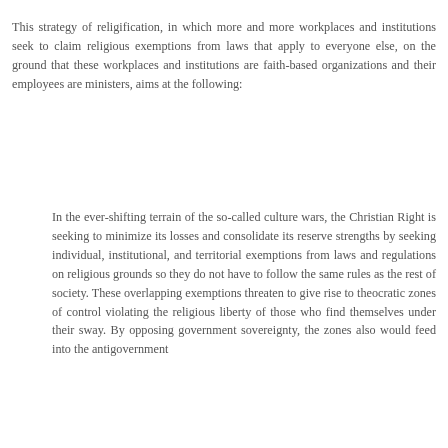This strategy of religification, in which more and more workplaces and institutions seek to claim religious exemptions from laws that apply to everyone else, on the ground that these workplaces and institutions are faith-based organizations and their employees are ministers, aims at the following:
In the ever-shifting terrain of the so-called culture wars, the Christian Right is seeking to minimize its losses and consolidate its reserve strengths by seeking individual, institutional, and territorial exemptions from laws and regulations on religious grounds so they do not have to follow the same rules as the rest of society. These overlapping exemptions threaten to give rise to theocratic zones of control violating the religious liberty of those who find themselves under their sway. By opposing government sovereignty, the zones also would feed into the antigovernment